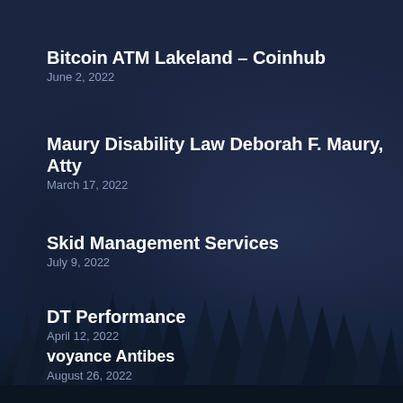Bitcoin ATM Lakeland – Coinhub
June 2, 2022
Maury Disability Law Deborah F. Maury, Atty
March 17, 2022
Skid Management Services
July 9, 2022
DT Performance
April 12, 2022
voyance Antibes
August 26, 2022